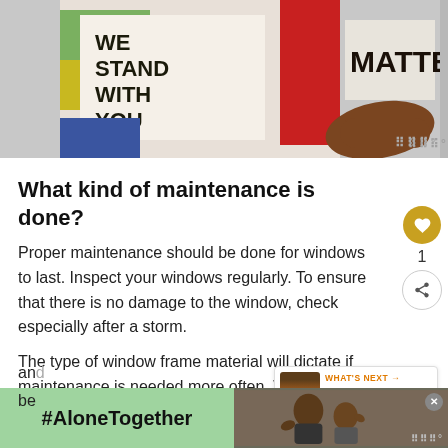[Figure (photo): Protest art showing signs reading 'WE STAND WITH YOU' and 'MATTER' with illustrated hands holding them, colorful painted style.]
What kind of maintenance is done?
Proper maintenance should be done for windows to last. Inspect your windows regularly. To ensure that there is no damage to the window, check especially after a storm.
The type of window frame material will dictate if maintenance is needed more often. Wo[od frames] have paint coating after a few years of use. Vinyl
[Figure (screenshot): WHAT'S NEXT widget showing 'How Often Should You...' with a thumbnail image of a pencil/brush.]
[Figure (photo): Advertisement banner at the bottom with #AloneTogether text on green background and a photo of a father and daughter smiling and waving.]